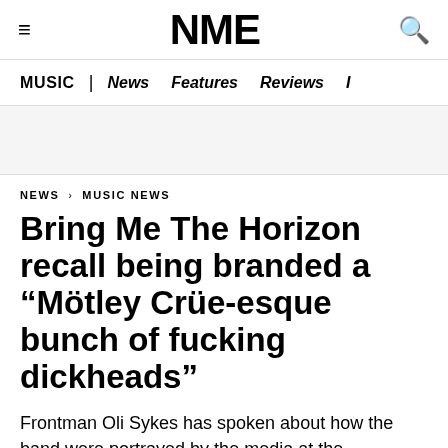NME
MUSIC | News   Features   Reviews   I
NEWS › MUSIC NEWS
Bring Me The Horizon recall being branded a “Mötley Crüe-esque bunch of fucking dickheads”
Frontman Oli Sykes has spoken about how the band were portrayed by the media at the